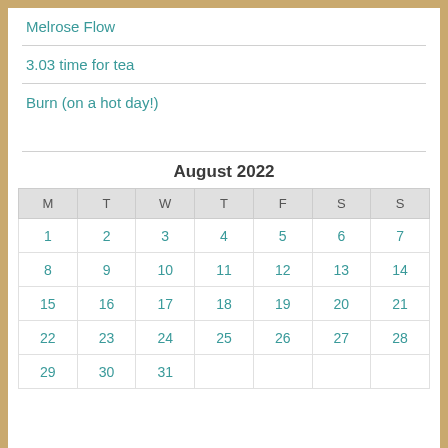Melrose Flow
3.03 time for tea
Burn (on a hot day!)
August 2022
| M | T | W | T | F | S | S |
| --- | --- | --- | --- | --- | --- | --- |
| 1 | 2 | 3 | 4 | 5 | 6 | 7 |
| 8 | 9 | 10 | 11 | 12 | 13 | 14 |
| 15 | 16 | 17 | 18 | 19 | 20 | 21 |
| 22 | 23 | 24 | 25 | 26 | 27 | 28 |
| 29 | 30 | 31 |  |  |  |  |